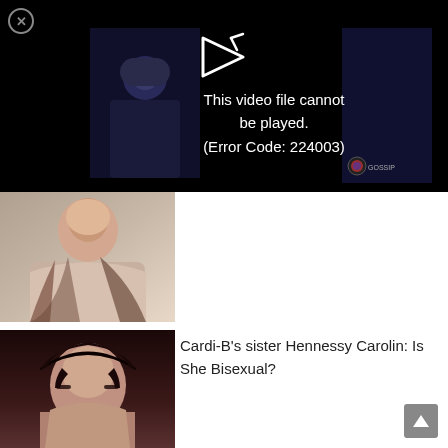[Figure (screenshot): Video player showing error message: 'This video file cannot be played. (Error Code: 224003)' on black background with thumbnail images on sides]
[Figure (photo): Portrait photo of a young woman with long dark wavy hair, wearing a white top, smiling]
[Figure (photo): Portrait photo of a young woman with straight dark hair and dramatic eye makeup, close-up face shot]
Cardi-B's sister Hennessy Carolin: Is She Bisexual?
[Figure (photo): Partial portrait photo continuing below, same woman with dark hair]